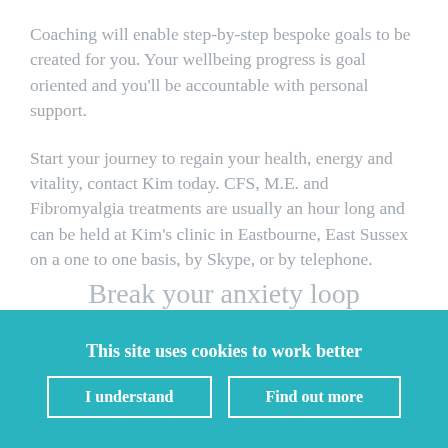Coaching will enable step-by-step bespoke goals to be created for you. Your wellbeing progress is goal oriented and you'll be accountable with personal support.
Start your journey to regain your health, energy and vitality, contact Kim today. CFS, M.E. and Fibromyalgia treatments are usually an hour long and can be held at Kim's clinic in Eastbourne, East Sussex on a one to one basis, by Skype, or by telephone.
Break your anxiety loop
This site uses cookies to work better
I understand
Find out more